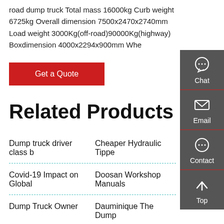road dump truck Total mass 16000kg Curb weight 6725kg Overall dimension 7500x2470x2740mm Load weight 3000Kg(off-road)90000Kg(highway) Boxdimension 4000x2294x900mm Whe
Get a Quote
Related Products
Dump truck driver class b
Cheaper Hydraulic Tippe
Covid-19 Impact on Global
Doosan Workshop Manuals
Dump Truck Owner
Dauminique The Dump
China Mainland Lift Axle for
DIAMOND REO Heavy